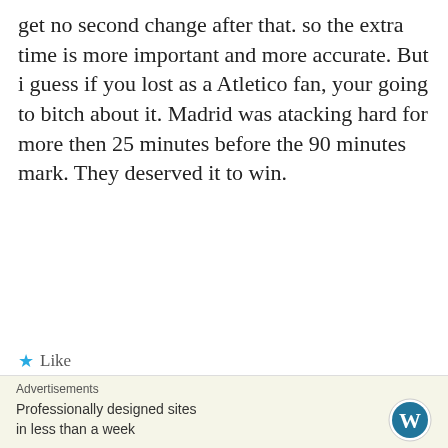get no second change after that. so the extra time is more important and more accurate. But i guess if you lost as a Atletico fan, your going to bitch about it. Madrid was atacking hard for more then 25 minutes before the 90 minutes mark. They deserved it to win.
★ Like
Reply
Gilbert  May 27, 2014 7:38 am
[Figure (illustration): Pixel avatar with green and pink design]
the 5 minutes added time was giving to both teams not only Real
Advertisements
Professionally designed sites in less than a week